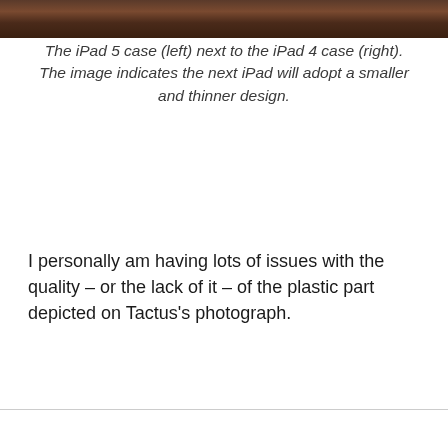[Figure (photo): Top portion of a photograph showing iPad cases, cropped at the top of the page]
The iPad 5 case (left) next to the iPad 4 case (right). The image indicates the next iPad will adopt a smaller and thinner design.
I personally am having lots of issues with the quality – or the lack of it – of the plastic part depicted on Tactus's photograph.